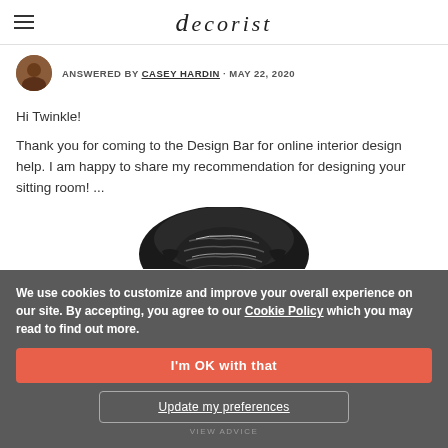decorist
ANSWERED BY CASEY HARDIN · MAY 22, 2020
Hi Twinkle!
Thank you for coming to the Design Bar for online interior design help. I am happy to share my recommendation for designing your sitting room! ...
[Figure (photo): A dark textured armchair photographed from above/side angle]
We use cookies to customize and improve your overall experience on our site. By accepting, you agree to our Cookie Policy which you may read to find out more.
I'm OK with that
Update my preferences
VIEW ADVICE